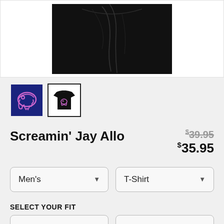[Figure (photo): Black t-shirt product photo on white background, cropped showing lower portion of shirt]
[Figure (photo): Small thumbnail: dinosaur skull graphic on dark blue background]
[Figure (photo): Small thumbnail (selected): black t-shirt with dinosaur skull graphic, white border selected state]
Screamin' Jay Allo
$39.95 (strikethrough original price) $35.95 (sale price)
Men's dropdown | T-Shirt dropdown
SELECT YOUR FIT